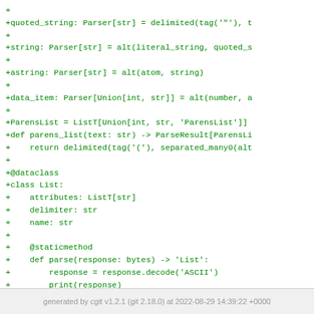[Figure (screenshot): Code diff showing Python parser code additions with green '+' prefixed lines including quoted_string, string, astring, data_item, ParensList, parens_list, dataclass, List class with attributes/delimiter/name fields and parse static method]
generated by cgit v1.2.1 (git 2.18.0) at 2022-08-29 14:39:22 +0000